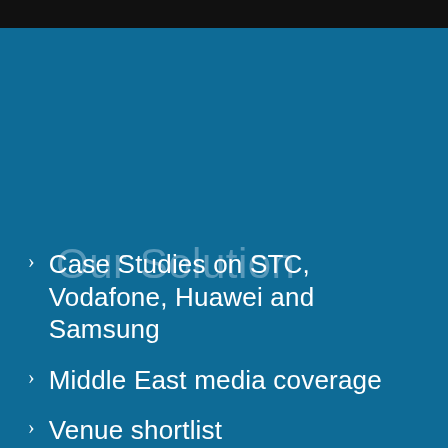Our Solution
Case Studies on STC, Vodafone, Huawei and Samsung
Middle East media coverage
Venue shortlist
Event agenda